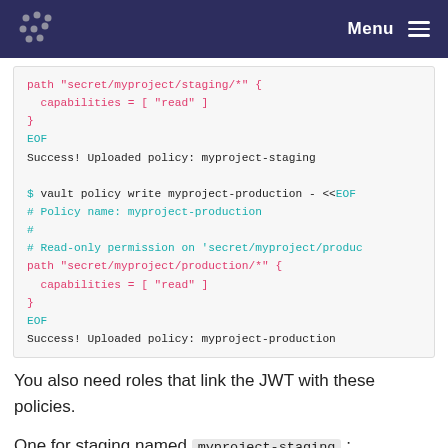Menu
[Figure (screenshot): Code block showing vault policy write commands for myproject-staging and myproject-production, with HCL policy content and success output messages.]
You also need roles that link the JWT with these policies.
One for staging named myproject-staging: